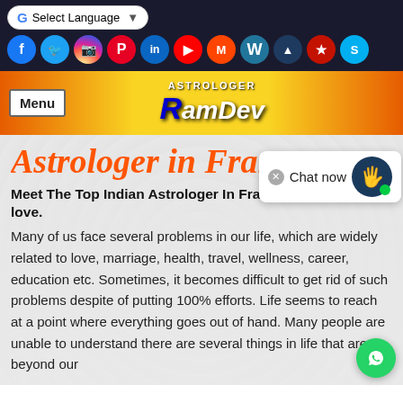[Figure (screenshot): Website header with Google Translate button, social media icons row (Facebook, Twitter, Instagram, Pinterest, LinkedIn, YouTube, MeetMe, WordPress, Astrologer, Yelp, Skype), and orange/yellow gradient nav bar with Menu button and Astrologer RamDev logo]
Astrologer in France
Meet The Top Indian Astrologer In France, and Ease your love.
Many of us face several problems in our life, which are widely related to love, marriage, health, travel, wellness, career, education etc. Sometimes, it becomes difficult to get rid of such problems despite of putting 100% efforts. Life seems to reach at a point where everything goes out of hand. Many people are unable to understand there are several things in life that are beyond our